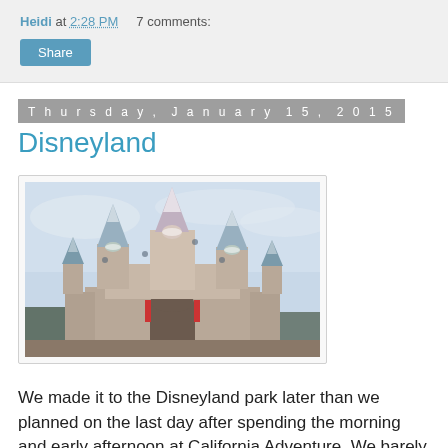Heidi at 2:28 PM    7 comments:
Share
Thursday, January 15, 2015
Disneyland
[Figure (photo): Photo of Disneyland Sleeping Beauty Castle with snow-capped turrets against a light blue sky]
We made it to the Disneyland park later than we planned on the last day after spending the morning and early afternoon at California Adventure. We barely made it in time to watch the wonderful parade, and it was starting to get dark.